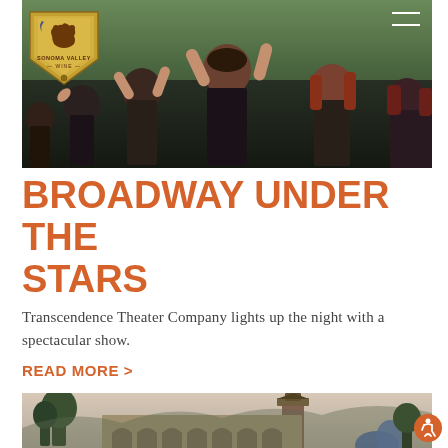[Figure (photo): Group of female performers on stage wearing black, arms raised, singing passionately with trees in background]
[Figure (logo): Sonoma Valley Wine shield logo with bear and moon icon, gold/brown color]
BROADWAY UNDER THE STARS
Transcendence Theater Company lights up the night with a spectacular show.
READ MORE >
[Figure (photo): Outdoor venue with archways and tower, trees in background, dusk/evening light]